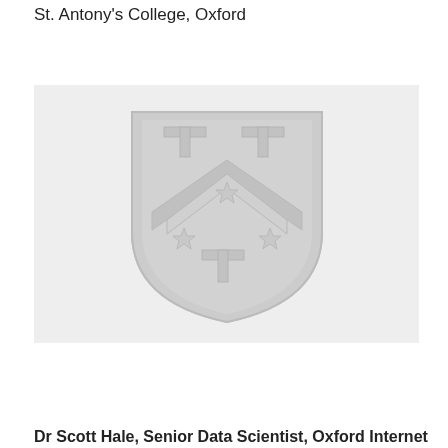St. Antony's College, Oxford
[Figure (logo): St. Antony's College Oxford coat of arms / shield logo in grey tones, featuring two T-shaped crosses in the upper quarters, a chevron with three stars, and one T-shaped cross below the chevron, all on a light grey shield with darker grey background panel.]
Dr Scott Hale, Senior Data Scientist, Oxford Internet